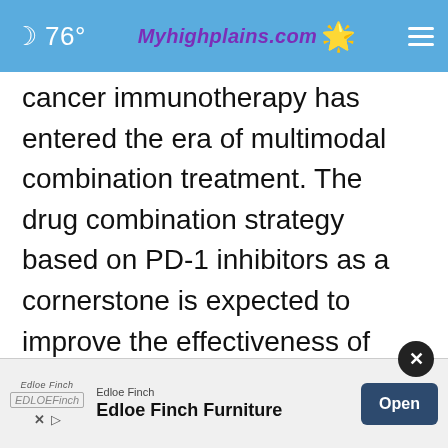76° Myhighplains.com
cancer immunotherapy has entered the era of multimodal combination treatment. The drug combination strategy based on PD-1 inhibitors as a cornerstone is expected to improve the effectiveness of immunotherapy, break through the limitations of drug resistance, reduce the toxic side effects, and expand its usage to benefit more cancer patients. As the first domestically marketed immune checkpoint inhibitor, toripalimab has been studied more than ... monotherapy to combination therapy. At the